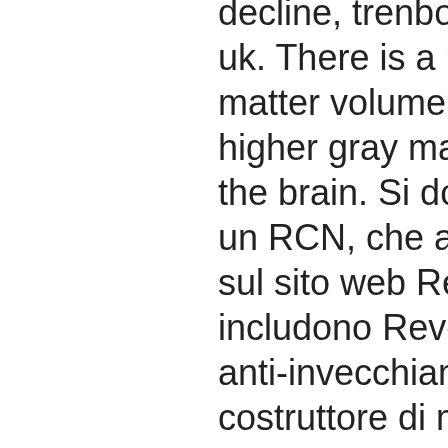decline, trenbolone acetate buy online uk. There is a male advantage in gray matter volume, though females have higher gray matter density throughout the brain. Si dovrebbe quindi ricevere un RCN, che agirà come nome utente sul sito web Reliv. Prodotti più recenti includono ReversAge, un integratore anti-invecchiamento, e ProVantage, un costruttore di muscolo a base di soia, trenbolone acetate 300 mg. At 50 mgs a day (which comes to just 350 mgs a week) all you would need is 500 mgs of an injectable to have a VERY effective cycle, trenbolone acetate and testosterone propionate cycle. And realize, that's only two compounds at a total amount of under a gram a week. Whether the same is true for FTM individuals is not known, but high dose testosterone variably diminishes